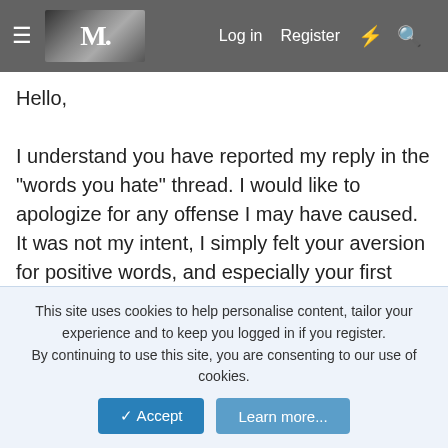[Figure (screenshot): Navigation bar with hamburger menu, logo image, Log in, Register, lightning bolt and search icons on dark gray background]
Hello,

I understand you have reported my reply in the "words you hate" thread. I would like to apologize for any offense I may have caused. It was not my intent, I simply felt your aversion for positive words, and especially your first post with the voodoo threats was rather uncalled for.

Yours,
Karom
darkequinox · Jan 10, 2013
here is the link: http://lamblion.com/ :)
This site uses cookies to help personalise content, tailor your experience and to keep you logged in if you register.
By continuing to use this site, you are consenting to our use of cookies.